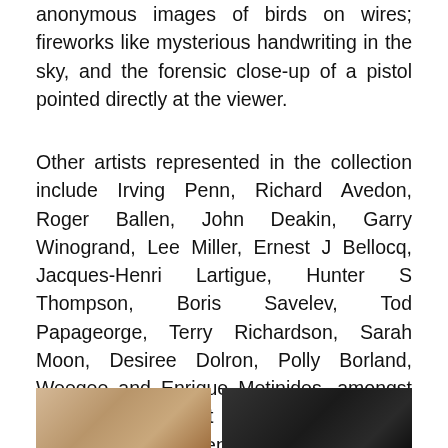anonymous images of birds on wires; fireworks like mysterious handwriting in the sky, and the forensic close-up of a pistol pointed directly at the viewer.
Other artists represented in the collection include Irving Penn, Richard Avedon, Roger Ballen, John Deakin, Garry Winogrand, Lee Miller, Ernest J Bellocq, Jacques-Henri Lartigue, Hunter S Thompson, Boris Savelev, Tod Papageorge, Terry Richardson, Sarah Moon, Desiree Dolron, Polly Borland, Weegee and Enrique Metinides, amongst others. A significant part of the collection testifies to Hoppen's interest in and knowledge of Asian photography, with works by Nobuyoshi Araki, Daido Moriyama, Kishin Shinoyama and Shomei Tomatsu.
[Figure (photo): Left photo: sepia-toned image of hands]
[Figure (photo): Right photo: dark/black background image of hands]